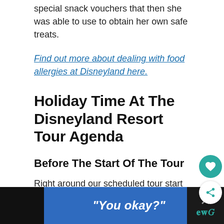The cast member kindly provided Elizabeth three special snack vouchers that then she was able to use to obtain her own safe treats.
Find out more about dealing with food allergies at Disneyland here.
Holiday Time At The Disneyland Resort Tour Agenda
Before The Start Of The Tour
Right around our scheduled tour start time, Kay began passing out headsets to everyone in the group. These headsets are pretty amazing.
"You okay?"